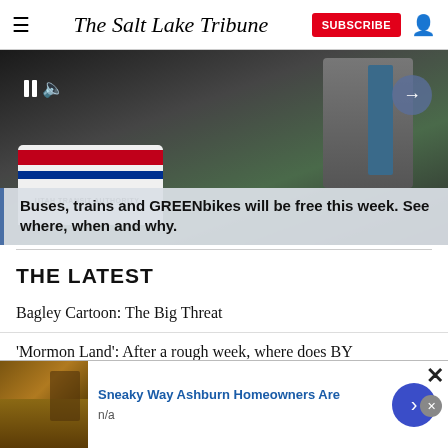The Salt Lake Tribune — SUBSCRIBE
[Figure (photo): Photo of buses and trains at a transit station. Video player overlay with pause and mute icons. Arrow navigation button on right. Overlay caption reads: Buses, trains and GREENbikes will be free this week. See where, when and why.]
Buses, trains and GREENbikes will be free this week. See where, when and why.
THE LATEST
Bagley Cartoon: The Big Threat
'Mormon Land': After a rough week, where does BY
[Figure (screenshot): Advertisement banner: Sneaky Way Ashburn Homeowners Are. n/a. With roofing photo and blue arrow button.]